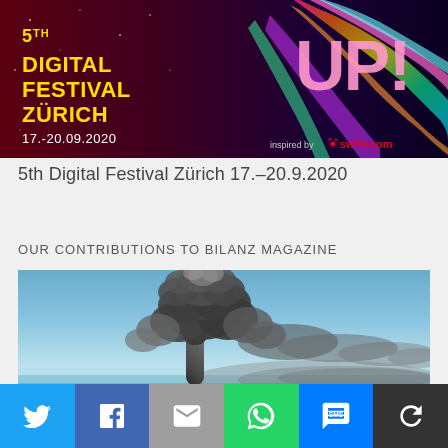[Figure (illustration): Banner for 5th Digital Festival Zürich 17.-20.09.2020, dark purple/red background with colorful UP! text, inspired by Swisscom logo]
5th Digital Festival Zürich 17.–20.9.2020
OUR CONTRIBUTIONS TO BILANZ MAGAZINE
[Figure (photo): Aerial photo of a large dark smoke plume rising from a volcanic eruption over ocean, blue sky background]